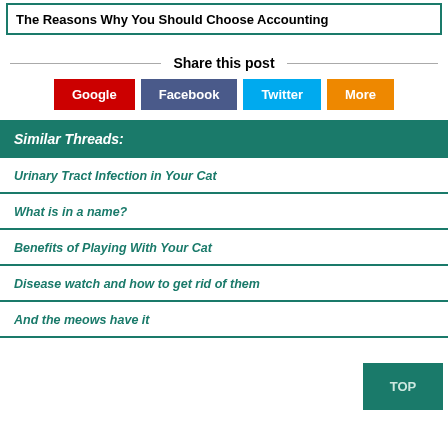The Reasons Why You Should Choose Accounting
Share this post
Google  Facebook  Twitter  More
Similar Threads:
Urinary Tract Infection in Your Cat
What is in a name?
Benefits of Playing With Your Cat
Disease watch and how to get rid of them
And the meows have it